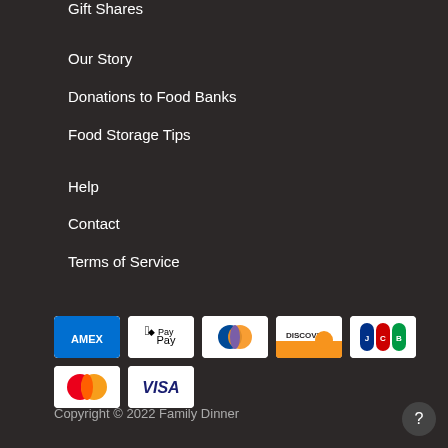Gift Shares
Our Story
Donations to Food Banks
Food Storage Tips
Help
Contact
Terms of Service
[Figure (logo): Payment method icons: American Express, Apple Pay, Diners Club, Discover, JCB, Mastercard, Visa]
Copyright © 2022 Family Dinner